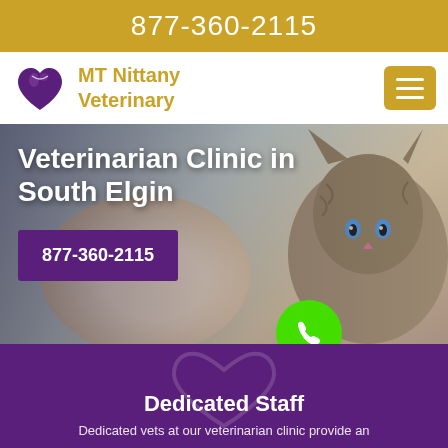877-360-2115
[Figure (logo): MT Nittany Veterinary logo with stylized heart and animal silhouette]
MT Nittany Veterinary
[Figure (photo): Hero background photo of a kitten and gloved veterinary hand, with bold white heading 'Veterinarian Clinic in South Elgin' and a purple call button showing 877-360-2115, plus a green phone icon circle]
Dedicated Staff
Dedicated vets at our veterinarian clinic provide an